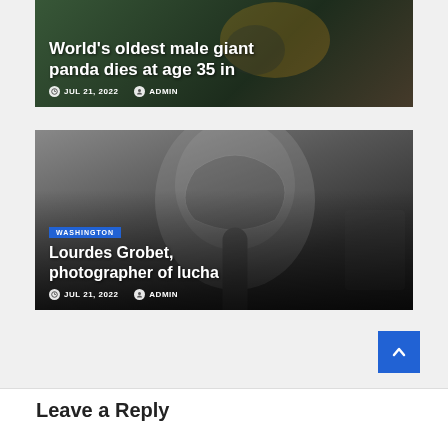[Figure (photo): Partial news card showing panda-themed background with headline about world's oldest male giant panda dying at age 35]
World's oldest male giant panda dies at age 35 in
JUL 21, 2022   ADMIN
[Figure (photo): Black and white photo of a person wearing a lucha libre wrestling mask looking into a mirror, news card for Lourdes Grobet photographer article]
WASHINGTON
Lourdes Grobet, photographer of lucha
JUL 21, 2022   ADMIN
Leave a Reply